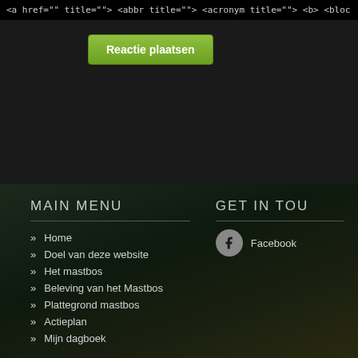<a href="" title=""> <abbr title=""> <acronym title=""> <b> <bloc
Reactie plaatsen
MAIN MENU
Home
Doel van deze website
Het mastbos
Beleving van het Mastbos
Plattegrond mastbos
Actieplan
Mijn dagboek
GET IN TOU
Facebook